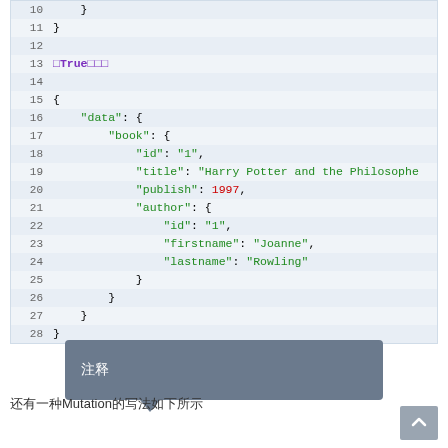[Figure (screenshot): Code editor screenshot showing JSON/GraphQL response data with line numbers 10-28. Lines show nested JSON structure with book data including id, title 'Harry Potter and the Philosopher', publish year 1997, and author Joanne Rowling.]
注释
还有一种Mutation的写法如下所示